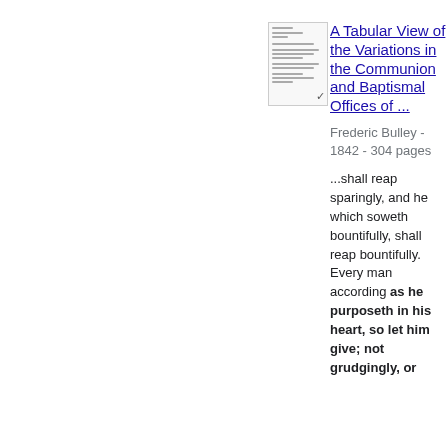[Figure (illustration): Small thumbnail image of a book cover page with text lines and a checkmark]
A Tabular View of the Variations in the Communion and Baptismal Offices of ...
Frederic Bulley - 1842 - 304 pages
...shall reap sparingly, and he which soweth bountifully, shall reap bountifully. Every man according as he purposeth in his heart, so let him give; not grudgingly, or